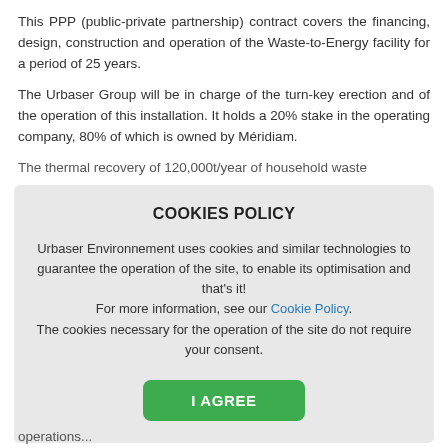This PPP (public-private partnership) contract covers the financing, design, construction and operation of the Waste-to-Energy facility for a period of 25 years.
The Urbaser Group will be in charge of the turn-key erection and of the operation of this installation. It holds a 20% stake in the operating company, 80% of which is owned by Méridiam.
The thermal recovery of 120,000t/year of household waste
COOKIES POLICY
Urbaser Environnement uses cookies and similar technologies to guarantee the operation of the site, to enable its optimisation and that's it!
For more information, see our Cookie Policy.
The cookies necessary for the operation of the site do not require your consent.
I AGREE
operations...